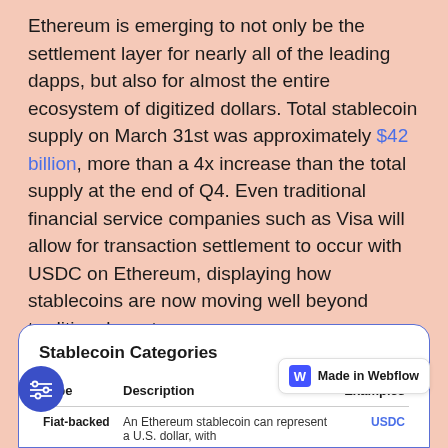Ethereum is emerging to not only be the settlement layer for nearly all of the leading dapps, but also for almost the entire ecosystem of digitized dollars. Total stablecoin supply on March 31st was approximately $42 billion, more than a 4x increase than the total supply at the end of Q4. Even traditional financial service companies such as Visa will allow for transaction settlement to occur with USDC on Ethereum, displaying how stablecoins are now moving well beyond traditional crypto use cases.
| Type | Description | Examples |
| --- | --- | --- |
| Fiat-backed | An Ethereum stablecoin can represent a U.S. dollar, with | USDC |